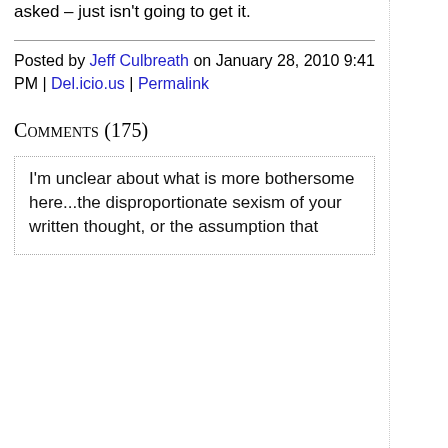asked – just isn't going to get it.
Posted by Jeff Culbreath on January 28, 2010 9:41 PM | Del.icio.us | Permalink
Comments (175)
I'm unclear about what is more bothersome here...the disproportionate sexism of your written thought, or the assumption that